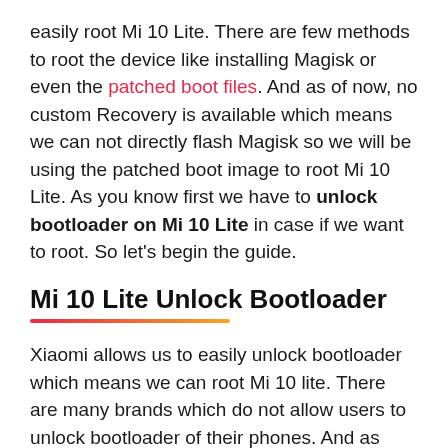easily root Mi 10 Lite. There are few methods to root the device like installing Magisk or even the patched boot files. And as of now, no custom Recovery is available which means we can not directly flash Magisk so we will be using the patched boot image to root Mi 10 Lite. As you know first we have to unlock bootloader on Mi 10 Lite in case if we want to root. So let's begin the guide.
Mi 10 Lite Unlock Bootloader
Xiaomi allows us to easily unlock bootloader which means we can root Mi 10 lite. There are many brands which do not allow users to unlock bootloader of their phones. And as Xiaomi allows